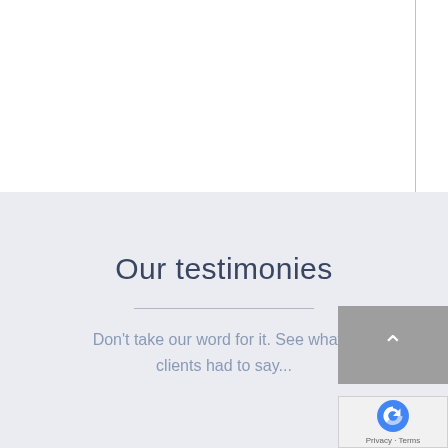Our testimonies
Don't take our word for it. See what our clients had to say...